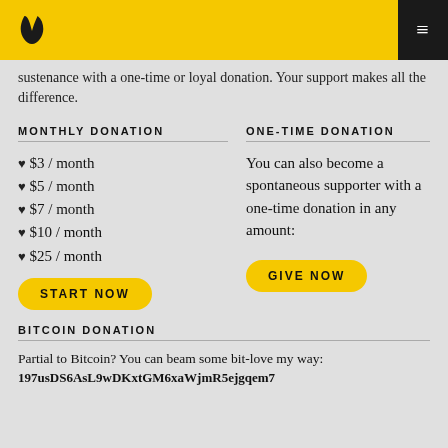[Logo] [Menu]
sustenance with a one-time or loyal donation. Your support makes all the difference.
MONTHLY DONATION
♥ $3 / month
♥ $5 / month
♥ $7 / month
♥ $10 / month
♥ $25 / month
START NOW
ONE-TIME DONATION
You can also become a spontaneous supporter with a one-time donation in any amount:
GIVE NOW
BITCOIN DONATION
Partial to Bitcoin? You can beam some bit-love my way:
197usDS6AsL9wDKxtGM6xaWjmR5ejgqem7